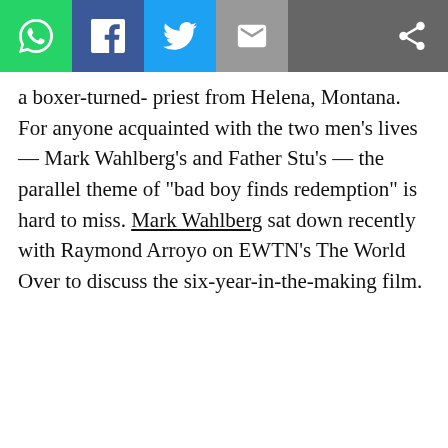Social sharing toolbar with WhatsApp, Facebook, Twitter, Email, and Share buttons
a boxer-turned- priest from Helena, Montana. For anyone acquainted with the two men's lives — Mark Wahlberg's and Father Stu's — the parallel theme of "bad boy finds redemption" is hard to miss. Mark Wahlberg sat down recently with Raymond Arroyo on EWTN's The World Over to discuss the six-year-in-the-making film.